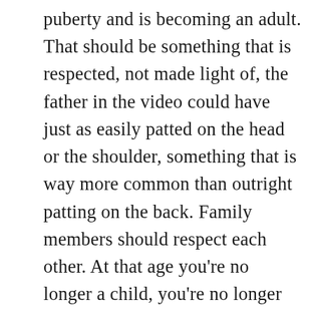puberty and is becoming an adult. That should be something that is respected, not made light of, the father in the video could have just as easily patted on the head or the shoulder, something that is way more common than outright patting on the back. Family members should respect each other. At that age you're no longer a child, you're no longer something that's cute all the time, so why is the dad treating her as if the